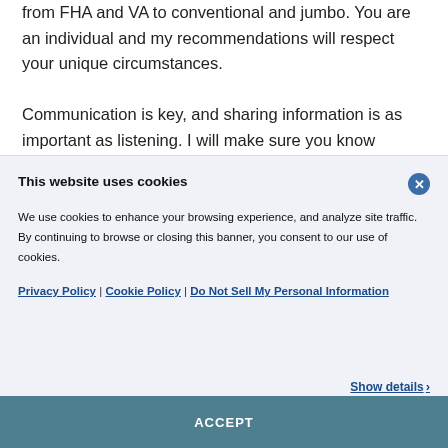from FHA and VA to conventional and jumbo. You are an individual and my recommendations will respect your unique circumstances.
Communication is key, and sharing information is as important as listening. I will make sure you know
This website uses cookies
We use cookies to enhance your browsing experience, and analyze site traffic. By continuing to browse or closing this banner, you consent to our use of cookies.
Privacy Policy | Cookie Policy | Do Not Sell My Personal Information
Show details >
ACCEPT